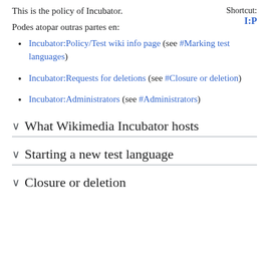This is the policy of Incubator.
Shortcut: I:P
Podes atopar outras partes en:
Incubator:Policy/Test wiki info page (see #Marking test languages)
Incubator:Requests for deletions (see #Closure or deletion)
Incubator:Administrators (see #Administrators)
What Wikimedia Incubator hosts
Starting a new test language
Closure or deletion